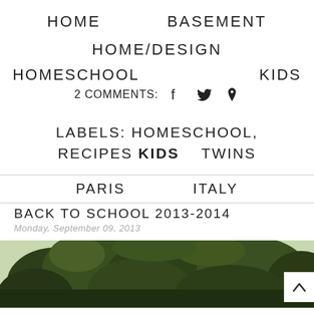HOME    BASEMENT
HOME/DESIGN
HOMESCHOOL    KIDS
2 COMMENTS:
LABELS: HOMESCHOOL, RECIPES KIDS    TWINS
PARIS    ITALY
BACK TO SCHOOL 2013-2014
Monday, September 09, 2013
[Figure (photo): Outdoor photo showing tree canopy with green leaves against a light sky, partial view at bottom of page]